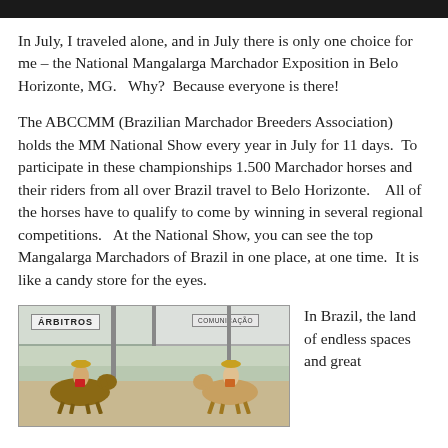In July, I traveled alone, and in July there is only one choice for me – the National Mangalarga Marchador Exposition in Belo Horizonte, MG.   Why?  Because everyone is there!
The ABCCMM (Brazilian Marchador Breeders Association) holds the MM National Show every year in July for 11 days.  To participate in these championships 1.500 Marchador horses and their riders from all over Brazil travel to Belo Horizonte.    All of the horses have to qualify to come by winning in several regional competitions.   At the National Show, you can see the top Mangalarga Marchadors of Brazil in one place, at one time.  It is like a candy store for the eyes.
[Figure (photo): Arena scene with riders on horseback wearing hats. Signs reading ÁRBITROS and COMUNICAÇÃO are visible on structures in the background.]
In Brazil, the land of endless spaces and great